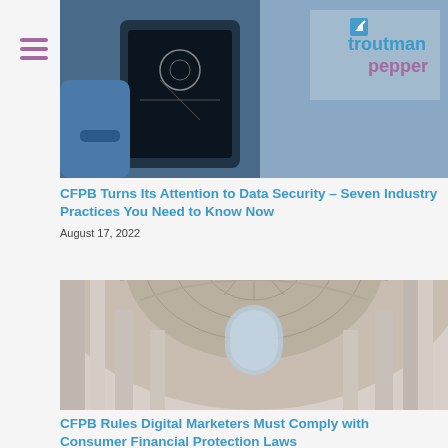[Figure (photo): Person holding a tablet with diagrams/annotations, Troutman Pepper logo in top right corner]
CFPB Turns Its Attention to Data Security – Seven Industry Practices You Need to Know Now
August 17, 2022
[Figure (photo): Interior of a grand rotunda/dome building looking upward, showing ornate ceiling and columns]
CFPB Rules Digital Marketers Must Comply with Consumer Financial Protection Laws